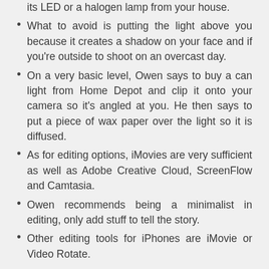its LED or a halogen lamp from your house.
What to avoid is putting the light above you because it creates a shadow on your face and if you're outside to shoot on an overcast day.
On a very basic level, Owen says to buy a can light from Home Depot and clip it onto your camera so it's angled at you. He then says to put a piece of wax paper over the light so it is diffused.
As for editing options, iMovies are very sufficient as well as Adobe Creative Cloud, ScreenFlow and Camtasia.
Owen recommends being a minimalist in editing, only add stuff to tell the story.
Other editing tools for iPhones are iMovie or Video Rotate.
Owen Hemsath's Social Media Six pack: